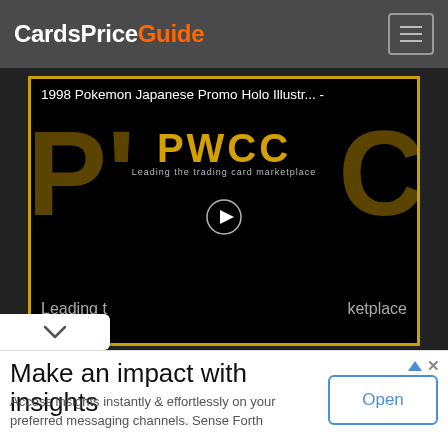CardsPriceGuide
[Figure (screenshot): Video thumbnail for '1998 Pokemon Japanese Promo Holo Illustr... -' showing PWCC marketplace branding on black background with large yellow PWCC text and play button]
Make an impact with insights
Access insights instantly & effortlessly on your preferred messaging channels. Sense Forth
Open